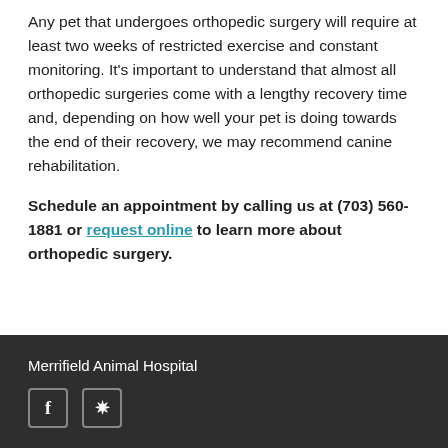Any pet that undergoes orthopedic surgery will require at least two weeks of restricted exercise and constant monitoring. It's important to understand that almost all orthopedic surgeries come with a lengthy recovery time and, depending on how well your pet is doing towards the end of their recovery, we may recommend canine rehabilitation.
Schedule an appointment by calling us at (703) 560-1881 or request online to learn more about orthopedic surgery.
Merrifield Animal Hospital